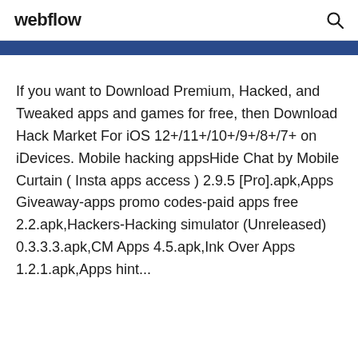webflow
If you want to Download Premium, Hacked, and Tweaked apps and games for free, then Download Hack Market For iOS 12+/11+/10+/9+/8+/7+ on iDevices. Mobile hacking appsHide Chat by Mobile Curtain ( Insta apps access ) 2.9.5 [Pro].apk,Apps Giveaway-apps promo codes-paid apps free 2.2.apk,Hackers-Hacking simulator (Unreleased) 0.3.3.3.apk,CM Apps 4.5.apk,Ink Over Apps 1.2.1.apk,Apps hint...